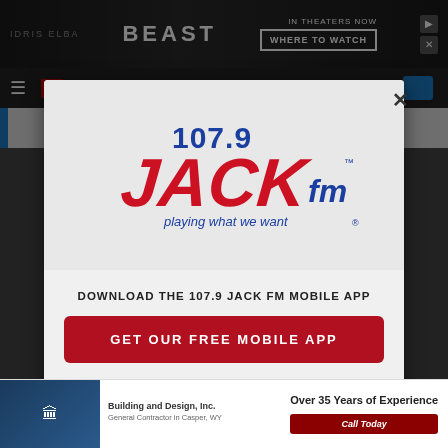[Figure (logo): 107.9 JACK fm radio station logo - 'playing what we want' tagline, blue and red colors]
DOWNLOAD THE 107.9 JACK FM MOBILE APP
GET OUR FREE MOBILE APP
Also listen on: amazon alexa
[Figure (photo): Bottom advertisement - Building and Design Inc. General Contractor in Casper WY - Over 35 Years of Experience - Call Today]